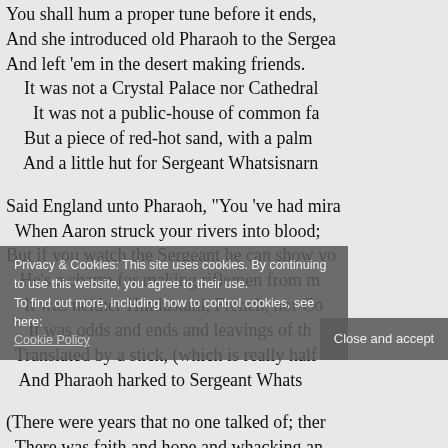You shall hum a proper tune before it ends,
And she introduced old Pharaoh to the Sergeant,
And left 'em in the desert making friends.
It was not a Crystal Palace nor Cathedral,
It was not a public-house of common fame,
But a piece of red-hot sand, with a palm
And a little hut for Sergeant Whatsisnarne

Said England unto Pharaoh, "You 've had miracles,
When Aaron struck your rivers into blood;
But if you watch the Sergeant he can show you
He's a charm for making riflemen from mud.
It was neither Hindustani, French, nor Coptic,
It was odds and ends and leavings of the
Translated by a stick, (which is really half
And Pharaoh harked to Sergeant Whatsisnarne

(There were years that no one talked of; there
There was faith and hope and whacking and
While the Sergeant gave the Cautions and he
And England didn't seem to know nor care.
Privacy & Cookies: This site uses cookies. By continuing to use this website, you agree to their use.
To find out more, including how to control cookies, see here:
Cookie Policy
Close and accept